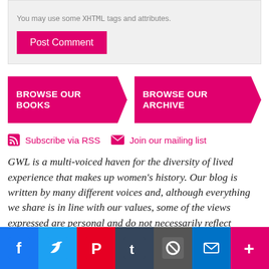You may use some XHTML tags and attributes.
Post Comment
BROWSE OUR BOOKS
BROWSE OUR ARCHIVE
Subscribe via RSS
Join our mailing list
GWL is a multi-voiced haven for the diversity of lived experience that makes up women’s history. Our blog is written by many different voices and, although everything we share is in line with our values, some of the views expressed are personal and do not necessarily reflect the views of GWL. We are proud to
[Figure (infographic): Social media sharing bar with icons for Facebook, Twitter, Pinterest, Tumblr, a link button, Email, and a plus/more button]